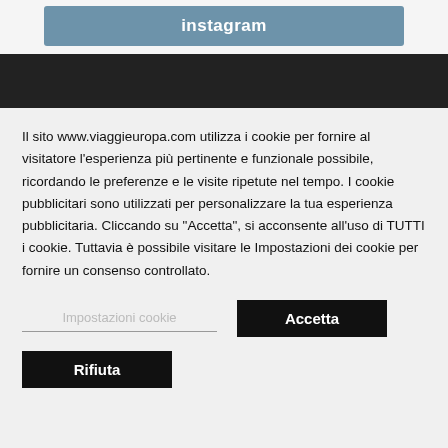[Figure (screenshot): Blue/steel button labeled 'instagram' at top of page]
Il sito www.viaggieuropa.com utilizza i cookie per fornire al visitatore l'esperienza più pertinente e funzionale possibile, ricordando le preferenze e le visite ripetute nel tempo. I cookie pubblicitari sono utilizzati per personalizzare la tua esperienza pubblicitaria. Cliccando su "Accetta", si acconsente all'uso di TUTTI i cookie. Tuttavia è possibile visitare le Impostazioni dei cookie per fornire un consenso controllato.
Impostazioni cookie
Accetta
Rifiuta